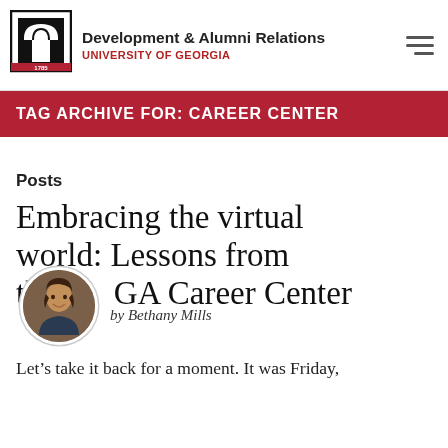Development & Alumni Relations
UNIVERSITY OF GEORGIA
TAG ARCHIVE FOR: CAREER CENTER
Posts
Embracing the virtual world: Lessons from the UGA Career Center
by Bethany Mills
Let's take it back for a moment. It was Friday,